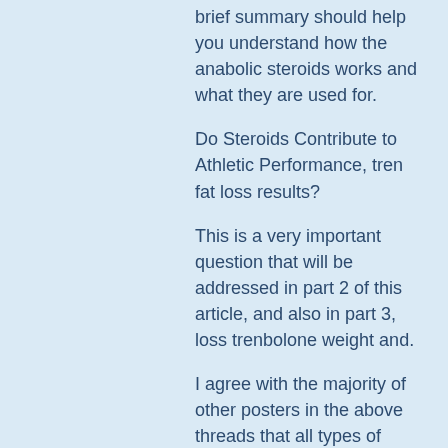brief summary should help you understand how the anabolic steroids works and what they are used for.
Do Steroids Contribute to Athletic Performance, tren fat loss results?
This is a very important question that will be addressed in part 2 of this article, and also in part 3, loss trenbolone weight and.
I agree with the majority of other posters in the above threads that all types of performance enhancement medications produce a positive effect on athletic performance, but let me clarify:
Test and tren cycle results
These days, the only true way to beat a steroid test is to keep half-lives and detection